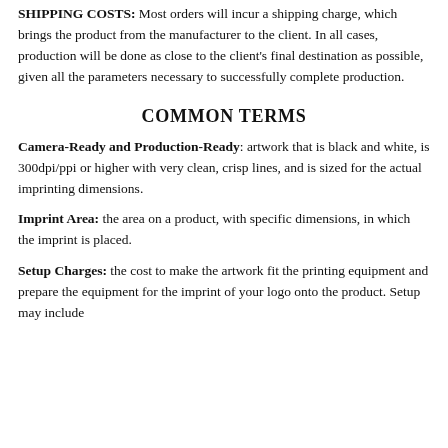SHIPPING COSTS: Most orders will incur a shipping charge, which brings the product from the manufacturer to the client. In all cases, production will be done as close to the client's final destination as possible, given all the parameters necessary to successfully complete production.
COMMON TERMS
Camera-Ready and Production-Ready: artwork that is black and white, is 300dpi/ppi or higher with very clean, crisp lines, and is sized for the actual imprinting dimensions.
Imprint Area: the area on a product, with specific dimensions, in which the imprint is placed.
Setup Charges: the cost to make the artwork fit the printing equipment and prepare the equipment for the imprint of your logo onto the product. Setup may include